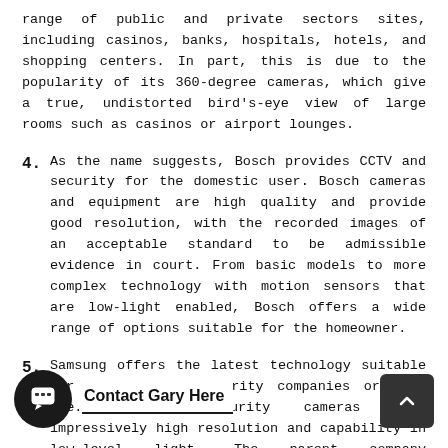range of public and private sectors sites, including casinos, banks, hospitals, hotels, and shopping centers. In part, this is due to the popularity of its 360-degree cameras, which give a true, undistorted bird's-eye view of large rooms such as casinos or airport lounges.
4. As the name suggests, Bosch provides CCTV and security for the domestic user. Bosch cameras and equipment are high quality and provide good resolution, with the recorded images of an acceptable standard to be admissible evidence in court. From basic models to more complex technology with motion sensors that are low-light enabled, Bosch offers a wide range of options suitable for the homeowner.
5. Samsung offers the latest technology suitable for professional security companies or home use. Samsung security cameras have impressively high resolution and capability in low-level light. The parent company specializes in robotic technology, and this reflects in the automated camera options, [such as...] sensor, and auto-zoom [capability...] integrated systems from cameras to recording devices. Some models of cameras are capable of car number plate recognition. As well as routine